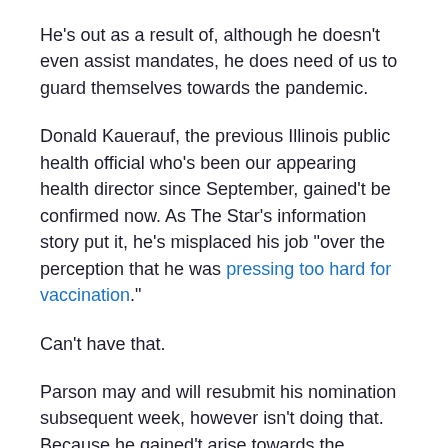He's out as a result of, although he doesn't even assist mandates, he does need of us to guard themselves towards the pandemic.
Donald Kauerauf, the previous Illinois public health official who's been our appearing health director since September, gained't be confirmed now. As The Star's information story put it, he's misplaced his job "over the perception that he was pressing too hard for vaccination."
Can't have that.
Parson may and will resubmit his nomination subsequent week, however isn't doing that. Because he gained't arise towards the misinformation that's killing Missourians, that's why.